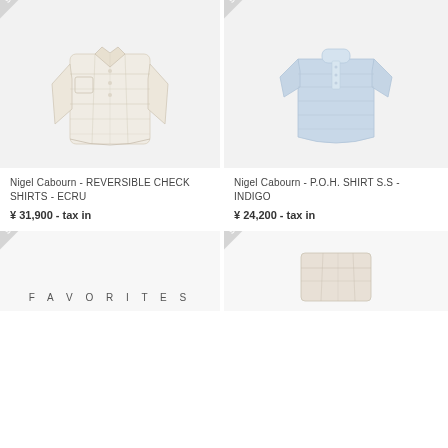[Figure (photo): Light plaid long-sleeve reversible check shirt, ecru/white tones, displayed flat]
Nigel Cabourn - REVERSIBLE CHECK SHIRTS - ECRU
¥ 31,900 - tax in
[Figure (photo): Light blue short-sleeve pullover P.O.H. shirt, displayed flat]
Nigel Cabourn - P.O.H. SHIRT S.S - INDIGO
¥ 24,200 - tax in
[Figure (photo): Bottom-left product card with SOLD badge and FAVORITES label]
F A V O R I T E S
[Figure (photo): Bottom-right product card with SOLD badge and partial shirt visible]